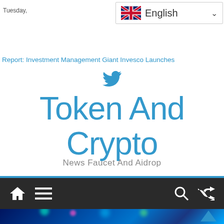Tuesday,
[Figure (screenshot): Language selector dropdown showing UK flag and 'English' with chevron]
Report: Investment Management Giant Invesco Launches
[Figure (logo): Twitter bird icon in blue]
Token And Crypto
News Faucet And Aidrop
[Figure (other): Dark navigation bar with home icon, hamburger menu, search icon, and shuffle icon]
[Figure (photo): Blurred cryptocurrency chart with colorful glowing candlesticks on dark blue background]